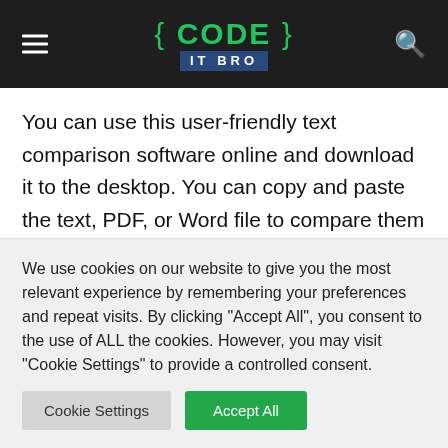{ CODE } IT BRO
You can use this user-friendly text comparison software online and download it to the desktop. You can copy and paste the text, PDF, or Word file to compare them for any similarities.
The software highlights differences in the two documents in different colors for clarity. You can later switch the
We use cookies on our website to give you the most relevant experience by remembering your preferences and repeat visits. By clicking "Accept All", you consent to the use of ALL the cookies. However, you may visit "Cookie Settings" to provide a controlled consent.